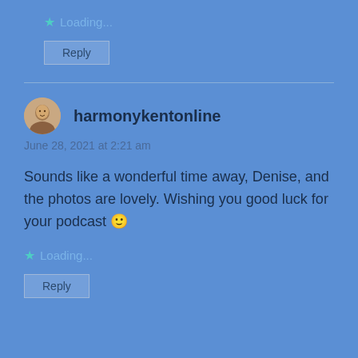★ Loading...
Reply
harmonykentonline
June 28, 2021 at 2:21 am
Sounds like a wonderful time away, Denise, and the photos are lovely. Wishing you good luck for your podcast 🙂
★ Loading...
Reply